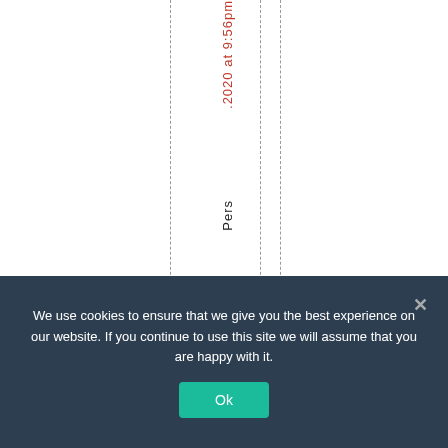.2020 at 9:56pm
Pers
We use cookies to ensure that we give you the best experience on our website. If you continue to use this site we will assume that you are happy with it. Ok ×